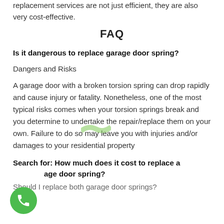replacement services are not just efficient, they are also very cost-effective.
FAQ
Is it dangerous to replace garage door spring?
Dangers and Risks
A garage door with a broken torsion spring can drop rapidly and cause injury or fatality. Nonetheless, one of the most typical risks comes when your torsion springs break and you determine to undertake the repair/replace them on your own. Failure to do so may leave you with injuries and/or damages to your residential property
Search for: How much does it cost to replace a garage door spring?
Should I replace both garage door springs?